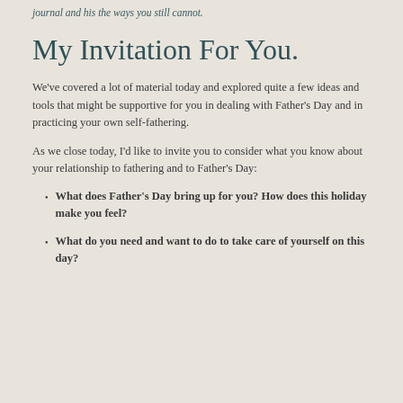journal and his the ways you still cannot.
My Invitation For You.
We've covered a lot of material today and explored quite a few ideas and tools that might be supportive for you in dealing with Father's Day and in practicing your own self-fathering.
As we close today, I'd like to invite you to consider what you know about your relationship to fathering and to Father's Day:
What does Father's Day bring up for you? How does this holiday make you feel?
What do you need and want to do to take care of yourself on this day?